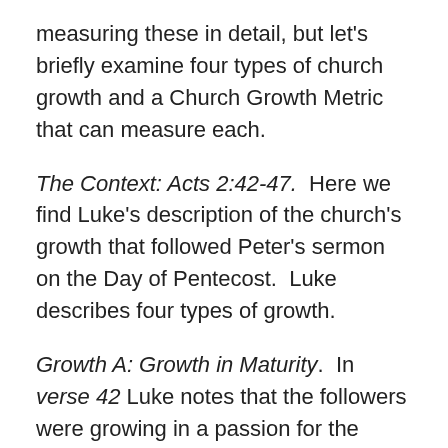measuring these in detail, but let's briefly examine four types of church growth and a Church Growth Metric that can measure each.
The Context: Acts 2:42-47.  Here we find Luke's description of the church's growth that followed Peter's sermon on the Day of Pentecost.  Luke describes four types of growth.
Growth A: Growth in Maturity.  In verse 42 Luke notes that the followers were growing in a passion for the apostle's teaching, fellowship and prayer.  Our first metric is to ascertain if, as a result of our need-based ministry, wayfarers are increasing in their participation in Bible study, fellowship and/or the practice of prayer.  One way to measure this is to measure if people are becoming increasingly involved in study groups, fellowship networks